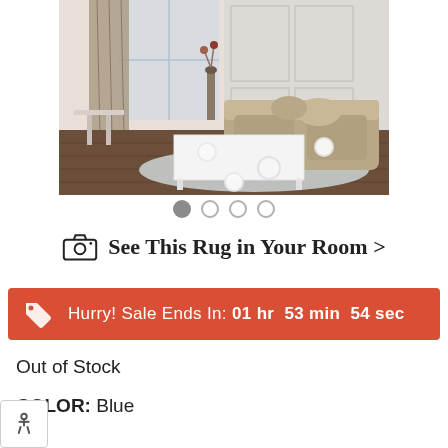[Figure (photo): A living room scene with a light gray rug under a white rectangular coffee table and a beige sofa. The room has hardwood floors, curtains, and paneled white walls.]
[Figure (other): Image carousel navigation dots: first dot filled gray, three dots empty outline.]
See This Rug in Your Room >
Hurry! Sale Ends In: 01 hr  53 min  54 sec
Out of Stock
COLOR: Blue